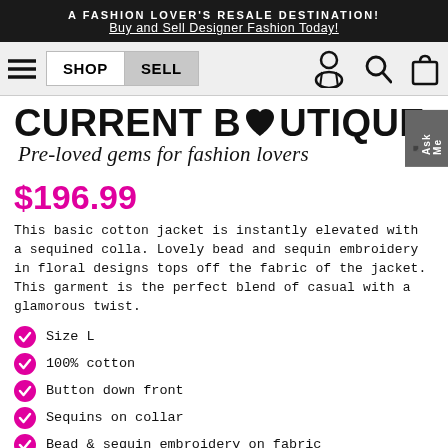A FASHION LOVER'S RESALE DESTINATION!
Buy and Sell Designer Fashion Today!
[Figure (screenshot): Navigation bar with hamburger menu, SHOP and SELL buttons, person/search/bag icons]
[Figure (logo): Current Boutique logo with heart in the O, subtitle 'Pre-loved gems for fashion lovers' in italic script]
$196.99
This basic cotton jacket is instantly elevated with a sequined colla. Lovely bead and sequin embroidery in floral designs tops off the fabric of the jacket. This garment is the perfect blend of casual with a glamorous twist.
Size L
100% cotton
Button down front
Sequins on collar
Bead & sequin embroidery on fabric